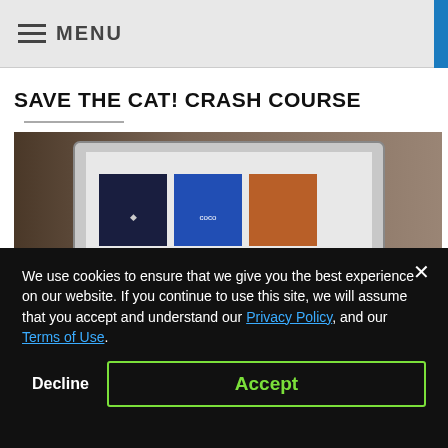≡ MENU
SAVE THE CAT! CRASH COURSE
[Figure (screenshot): A laptop screen displaying movie posters including Black Panther and Coco]
We use cookies to ensure that we give you the best experience on our website. If you continue to use this site, we will assume that you accept and understand our Privacy Policy, and our Terms of Use.
Decline
Accept
Share This ∨